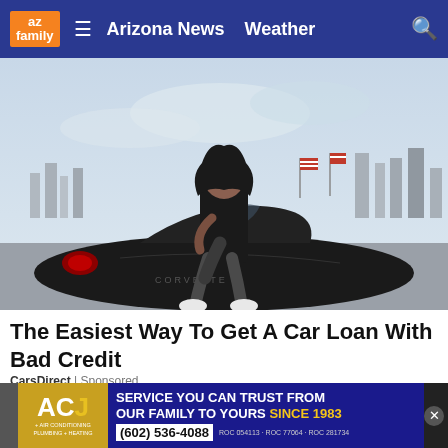az family | Arizona News  Weather
[Figure (photo): Young woman sitting on the trunk of a black Corvette sports car in a parking lot with a city skyline and American flags in the background]
The Easiest Way To Get A Car Loan With Bad Credit
CarsDirect | Sponsored
[Figure (other): ACJ advertisement banner: SERVICE YOU CAN TRUST FROM OUR FAMILY TO YOURS SINCE 1983. (602) 536-4088. ROC 054113 - ROC 77064 - ROC 281734]